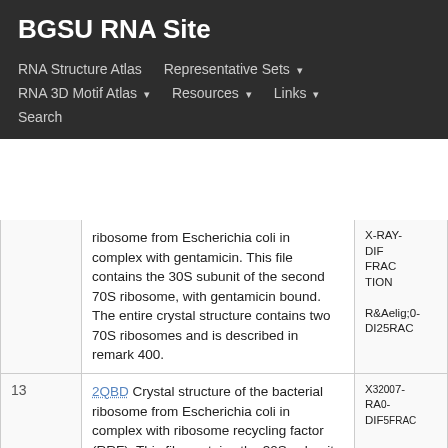BGSU RNA Site
RNA Structure Atlas | Representative Sets ▾ | RNA 3D Motif Atlas ▾ | Resources ▾ | Links ▾ | Search
| # | PDB / Description | Method / Year |
| --- | --- | --- |
|  | ribosome from Escherichia coli in complex with gentamicin. This file contains the 30S subunit of the second 70S ribosome, with gentamicin bound. The entire crystal structure contains two 70S ribosomes and is described in remark 400. | X-RAY DIFFRACTION 2007-09-25 |
| 13 | 2QBD Crystal structure of the bacterial ribosome from Escherichia coli in complex with ribosome recycling factor (RRF). This file contains the 30S subunit of the first 70S ribosome. The entire crystal structure contains two 70S ribosomes and is described in remark 400. | X-RAY DIFFRACTION 2007-09-25 |